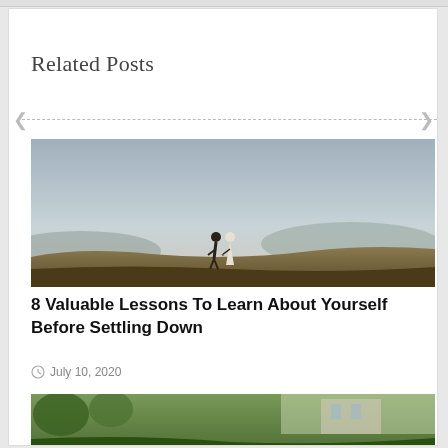Related Posts
[Figure (photo): Couple holding hands walking through a hilly landscape at dusk, viewed from behind]
8 Valuable Lessons To Learn About Yourself Before Settling Down
July 10, 2020
[Figure (photo): Outdoor garden or patio scene, partially visible at bottom of page]